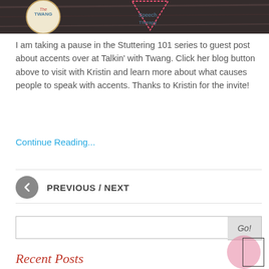[Figure (photo): Cropped top of a blog post hero image showing two blog logos: 'Talkin with Twang' circular badge on the left and a triangular 'Speech Therapy' logo in the center, on a dark wooden background.]
I am taking a pause in the Stuttering 101 series to guest post about accents over at Talkin' with Twang. Click her blog button above to visit with Kristin and learn more about what causes people to speak with accents. Thanks to Kristin for the invite!
Continue Reading...
PREVIOUS / NEXT
Go!
Recent Posts